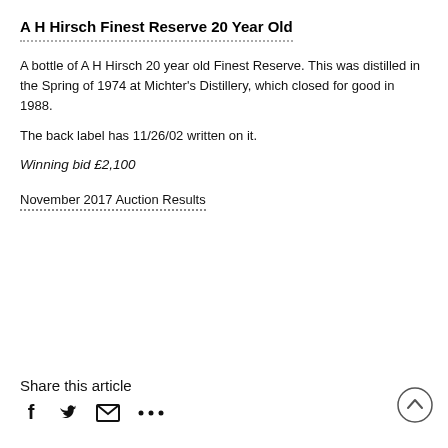A H Hirsch Finest Reserve 20 Year Old
A bottle of A H Hirsch 20 year old Finest Reserve. This was distilled in the Spring of 1974 at Michter's Distillery, which closed for good in 1988.
The back label has 11/26/02 written on it.
Winning bid £2,100
November 2017 Auction Results
Share this article